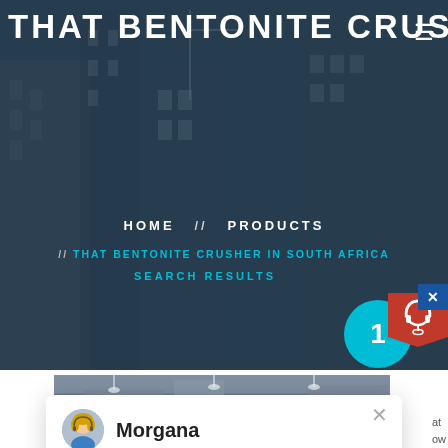THAT BENTONITE CRUSHER IN
HOME // PRODUCTS
// THAT BENTONITE CRUSHER IN SOUTH AFRICA
SEARCH RESULTS
Morgana
Hello, I am Morgana, I am very glad to talk with you!
1
[Figure (photo): Industrial machinery / crusher equipment in a factory setting]